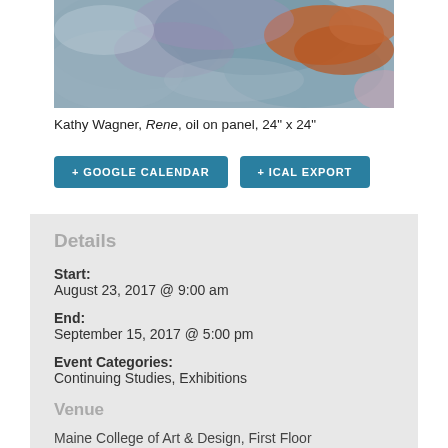[Figure (photo): Cropped view of an abstract oil painting with blue, orange, and pink brushstrokes by Kathy Wagner]
Kathy Wagner, Rene, oil on panel, 24" x 24"
[Figure (other): Two teal buttons: '+ GOOGLE CALENDAR' and '+ ICAL EXPORT']
Details
Start:
August 23, 2017 @ 9:00 am
End:
September 15, 2017 @ 5:00 pm
Event Categories:
Continuing Studies, Exhibitions
Venue
Maine College of Art & Design, First Floor